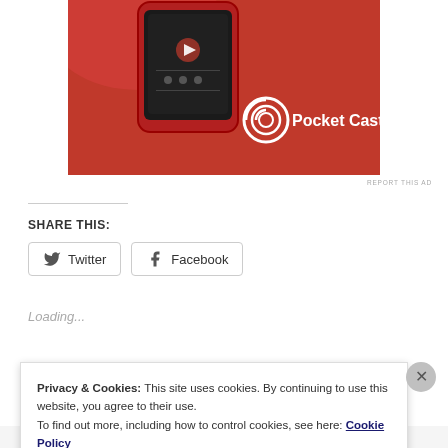[Figure (photo): Pocket Casts app advertisement banner showing a red smartphone device on a red background with the Pocket Casts logo and text]
REPORT THIS AD
SHARE THIS:
Twitter  Facebook
Loading...
Related
Privacy & Cookies: This site uses cookies. By continuing to use this website, you agree to their use.
To find out more, including how to control cookies, see here: Cookie Policy
Close and accept